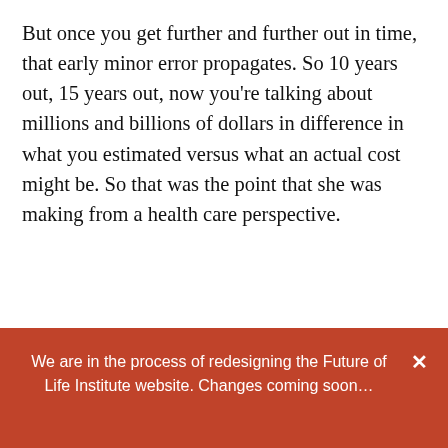But once you get further and further out in time, that early minor error propagates. So 10 years out, 15 years out, now you're talking about millions and billions of dollars in difference in what you estimated versus what an actual cost might be. So that was the point that she was making from a health care perspective.
SIGN UP FOR PERIODIC UPDATES FROM THE FUTURE OF LIFE INSTITUTE!
Enter your name here...
Enter your email address here...
We are in the process of redesigning the Future of Life Institute website. Changes coming soon...